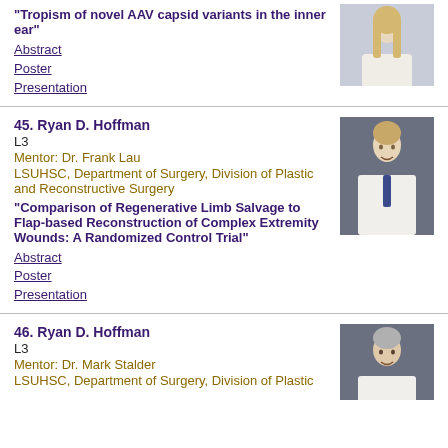"Tropism of novel AAV capsid variants in the inner ear"
Abstract
Poster
Presentation
[Figure (photo): Photo of a woman with long blonde hair wearing a white top]
45. Ryan D. Hoffman
L3
Mentor: Dr. Frank Lau
LSUHSC, Department of Surgery, Division of Plastic and Reconstructive Surgery
"Comparison of Regenerative Limb Salvage to Flap-based Reconstruction of Complex Extremity Wounds: A Randomized Control Trial"
Abstract
Poster
Presentation
[Figure (photo): Photo of a young man in a white coat and tie smiling against a dark background]
46. Ryan D. Hoffman
L3
Mentor: Dr. Mark Stalder
LSUHSC, Department of Surgery, Division of Plastic
[Figure (photo): Photo of an older man in a white coat smiling]